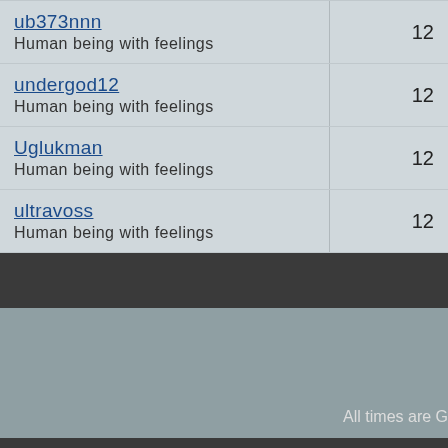| User | Posts |
| --- | --- |
| ub373nnn
Human being with feelings | 12 |
| undergod12
Human being with feelings | 12 |
| Uglukman
Human being with feelings | 12 |
| ultravoss
Human being with feelings | 12 |
All times are G
---- REAPER 5
Powered
Copyright ©2o